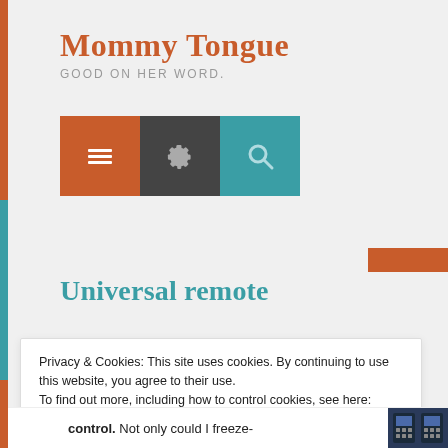Mommy Tongue
GOOD ON HER WORD.
[Figure (screenshot): Navigation icon buttons: orange menu/hamburger icon, dark settings/gear icon, teal search/magnifier icon]
Universal remote
Privacy & Cookies: This site uses cookies. By continuing to use this website, you agree to their use.
To find out more, including how to control cookies, see here: Cookie Policy
Close and accept
control. Not only could I freeze-